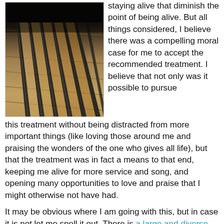[Figure (photo): Black and white photo of metal grates/bars over a stone or wooden surface, viewed from above at an angle]
staying alive that diminish the point of being alive. But all things considered, I believe there was a compelling moral case for me to accept the recommended treatment. I believe that not only was it possible to pursue this treatment without being distracted from more important things (like loving those around me and praising the wonders of the one who gives all life), but that the treatment was in fact a means to that end, keeping me alive for more service and song, and opening many opportunities to love and praise that I might otherwise not have had.
It may be obvious where I am going with this, but in case it is not let me spell it out. There is a large and diverse body of scientific experts with years in the field who point to widespread and growing empirical evidence of a critical diagnosis, which we cannot in good conscience ignore. They